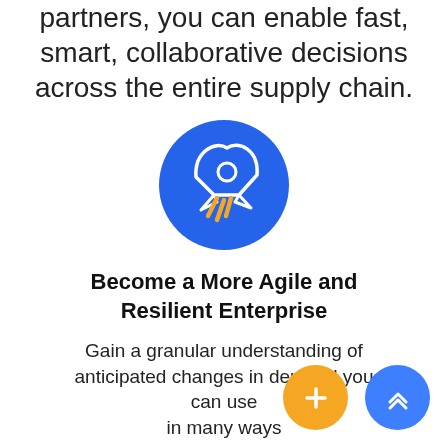partners, you can enable fast, smart, collaborative decisions across the entire supply chain.
[Figure (illustration): Blue circle icon with a white rocket ship launching upward-right, with orange/yellow flame trails underneath]
Become a More Agile and Resilient Enterprise
Gain a granular understanding of anticipated changes in demand you can use in many ways